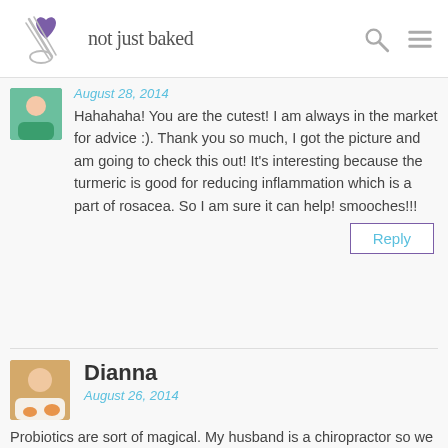not just baked
August 28, 2014
Hahahaha! You are the cutest! I am always in the market for advice :). Thank you so much, I got the picture and am going to check this out! It’s interesting because the turmeric is good for reducing inflammation which is a part of rosacea. So I am sure it can help! smooches!!!
Reply
Dianna
August 26, 2014
Probiotics are sort of magical. My husband is a chiropractor so we try a holistic approach 9 out of 10 times when it comes to health stuff, and it